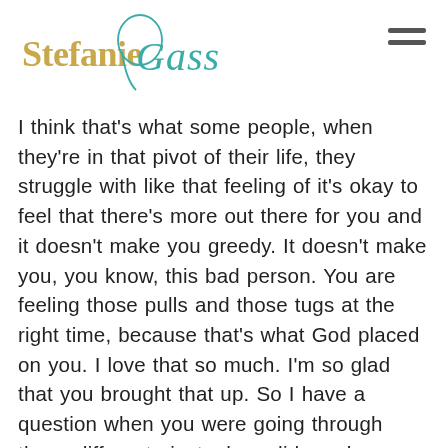Stefanie Gass
I think that's what some people, when they're in that pivot of their life, they struggle with like that feeling of it's okay to feel that there's more out there for you and it doesn't make you greedy. It doesn't make you, you know, this bad person. You are feeling those pulls and those tugs at the right time, because that's what God placed on you. I love that so much. I'm so glad that you brought that up. So I have a question when you were going through these different pivots, how did you know,